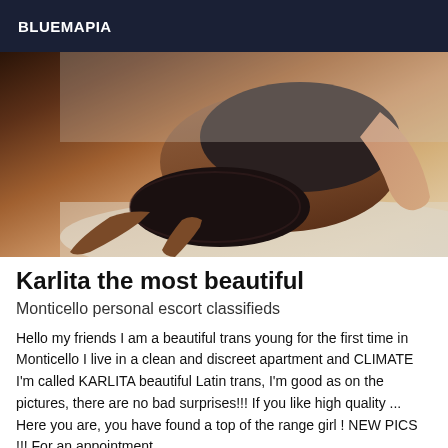BLUEMAPIA
[Figure (photo): Photo of a person posing on a bed wearing dark lingerie]
Karlita the most beautiful
Monticello personal escort classifieds
Hello my friends I am a beautiful trans young for the first time in Monticello I live in a clean and discreet apartment and CLIMATE I'm called KARLITA beautiful Latin trans, I'm good as on the pictures, there are no bad surprises!!! If you like high quality ... Here you are, you have found a top of the range girl ! NEW PICS !!! For an appointment